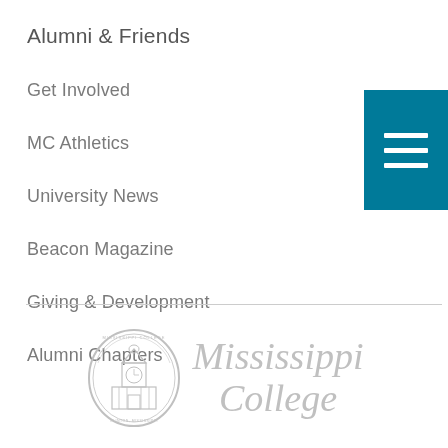Alumni & Friends
Get Involved
MC Athletics
University News
Beacon Magazine
Giving & Development
Alumni Chapters
[Figure (logo): Mississippi College logo with circular seal featuring a clock tower building and text 'Mississippi College' in italic gray serif font]